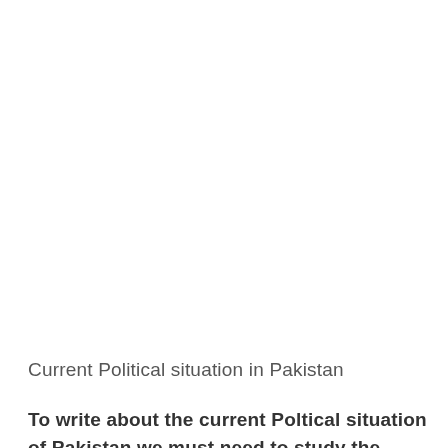Current Political situation in Pakistan
To write about the current Poltical situation of Pakistan we must need to study the whole history of Pakistan I am